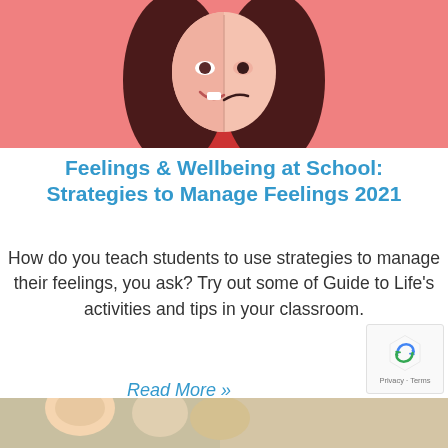[Figure (illustration): Illustrated graphic of a woman with dark hair on a coral/pink background, with a lighter face split between two expressions, wearing a red top]
Feelings & Wellbeing at School: Strategies to Manage Feelings 2021
How do you teach students to use strategies to manage their feelings, you ask? Try out some of Guide to Life's activities and tips in your classroom.
Read More »
[Figure (photo): Partial photo at bottom of page showing children or students]